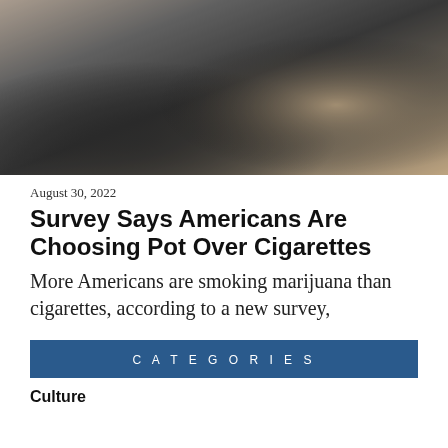[Figure (photo): Two young people sitting together, one in a dark plaid shirt and one in a beige coat with blonde hair]
August 30, 2022
Survey Says Americans Are Choosing Pot Over Cigarettes
More Americans are smoking marijuana than cigarettes, according to a new survey,
CATEGORIES
Culture